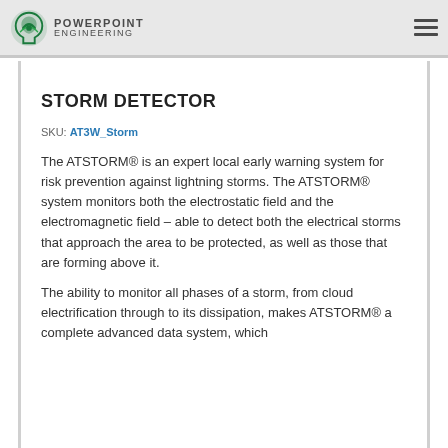POWERPOINT ENGINEERING
STORM DETECTOR
SKU: AT3W_Storm
The ATSTORM® is an expert local early warning system for risk prevention against lightning storms. The ATSTORM® system monitors both the electrostatic field and the electromagnetic field – able to detect both the electrical storms that approach the area to be protected, as well as those that are forming above it.
The ability to monitor all phases of a storm, from cloud electrification through to its dissipation, makes ATSTORM® a complete advanced data system, which